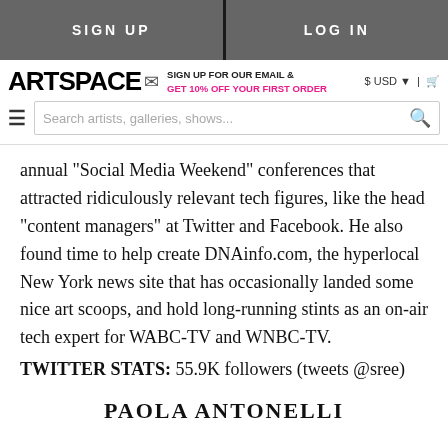SIGN UP | LOG IN
ARTSPACE | SIGN UP FOR OUR EMAIL & GET 10% OFF YOUR FIRST ORDER | $ USD | Search artists, galleries, shows...
annual "Social Media Weekend" conferences that attracted ridiculously relevant tech figures, like the head "content managers" at Twitter and Facebook. He also found time to help create DNAinfo.com, the hyperlocal New York news site that has occasionally landed some nice art scoops, and hold long-running stints as an on-air tech expert for WABC-TV and WNBC-TV. TWITTER STATS: 55.9K followers (tweets @sree)
PAOLA ANTONELLI